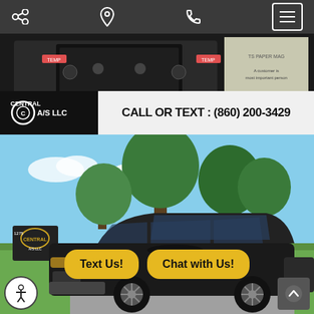Navigation bar with share, location, phone, and menu icons
[Figure (photo): Interior photo of vehicle dashboard/infotainment screen and partial dealership sign in background]
[Figure (photo): Central A/S LLC dealership logo banner with text CALL OR TEXT : (860) 200-3429]
[Figure (photo): Black Ford Explorer SUV parked at Central A/S LLC dealership lot with green trees in background]
Text Us!
Chat with Us!